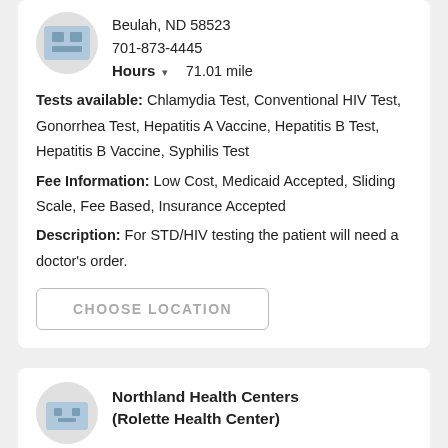Beulah, ND 58523
701-873-4445
Hours  71.01 mile
Tests available: Chlamydia Test, Conventional HIV Test, Gonorrhea Test, Hepatitis A Vaccine, Hepatitis B Test, Hepatitis B Vaccine, Syphilis Test
Fee Information: Low Cost, Medicaid Accepted, Sliding Scale, Fee Based, Insurance Accepted
Description: For STD/HIV testing the patient will need a doctor's order.
CHOOSE LOCATION
Northland Health Centers (Rolette Health Center)